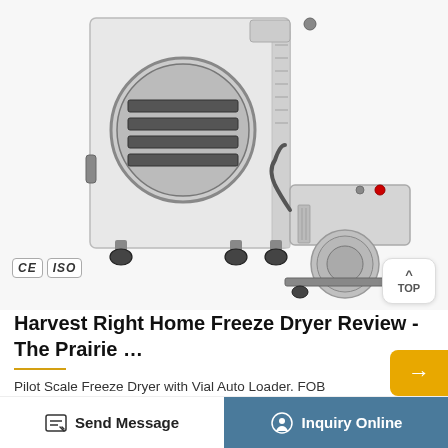[Figure (photo): Freeze dryer / lyophilizer machine with circular front door and shelves visible, on caster wheels, with a vacuum pump motor unit beside it. CE and ISO certification badges visible in lower left corner.]
Harvest Right Home Freeze Dryer Review - The Prairie …
Pilot Scale Freeze Dryer with Vial Auto Loader. FOB Price: US $ 9500.0-10500.0 / Piece. Min. Order: 1 Piece. Industrial Freeze Dryer / Lyophilizer Freeze Dryer /Lyophilizer/ Dryer/Dryer Machine/Vacuum Dryer /Fruit…